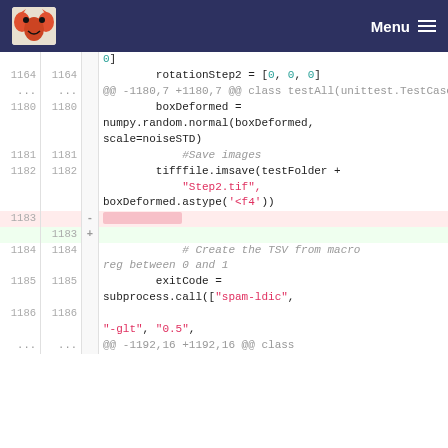Menu
Code diff view showing lines 1164–1186 of a Python test file with diff markers
[Figure (screenshot): Source code diff view showing Python code with line numbers, diff markers (+/-), syntax highlighting in teal and red, and a navigation header]